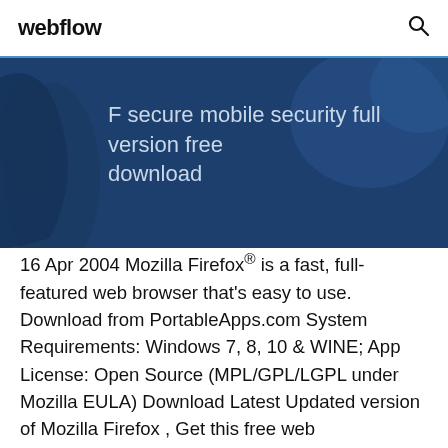webflow
F secure mobile security full version free download
16 Apr 2004 Mozilla Firefox® is a fast, full-featured web browser that's easy to use. Download from PortableApps.com System Requirements: Windows 7, 8, 10 & WINE; App License: Open Source (MPL/GPL/LGPL under Mozilla EULA) Download Latest Updated version of Mozilla Firefox , Get this free web